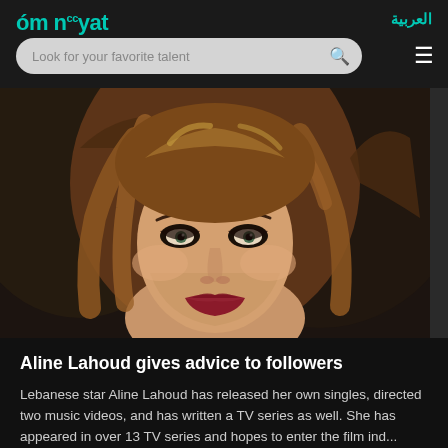omneeyat | العربية
[Figure (photo): Portrait photo of Lebanese star Aline Lahoud with blonde/auburn wavy hair, dramatic makeup, dark background.]
Aline Lahoud gives advice to followers
Lebanese star Aline Lahoud has released her own singles, directed two music videos, and has written a TV series as well. She has appeared in over 13 TV series and hopes to enter the film ind...